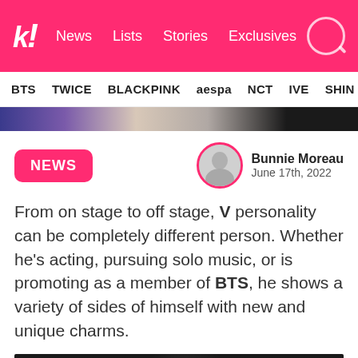k! News  Lists  Stories  Exclusives
BTS  TWICE  BLACKPINK  aespa  NCT  IVE  SHINe
[Figure (photo): Colorful banner/hero image strip]
NEWS
Bunnie Moreau
June 17th, 2022
From on stage to off stage, V personality can be completely different person. Whether he's acting, pursuing solo music, or is promoting as a member of BTS, he shows a variety of sides of himself with new and unique charms.
[Figure (photo): Black and white close-up photo of BTS member V]